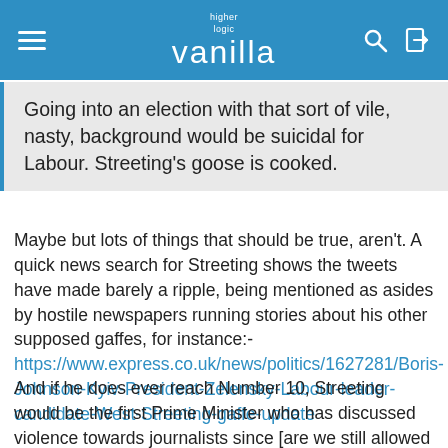higher logic vanilla
Going into an election with that sort of vile, nasty, background would be suicidal for Labour. Streeting's goose is cooked.
Maybe but lots of things that should be true, aren't. A quick news search for Streeting shows the tweets have made barely a ripple, being mentioned as asides by hostile newspapers running stories about his other supposed gaffes, for instance:- https://www.express.co.uk/news/politics/1627281/Boris-Johnson-Kyiv-President-Zelensky-Labour-leader-candidate-West-Streeting-gaffe-update
And if he does ever reach Number 10, Streeting would be the first Prime Minister who has discussed violence towards journalists since [are we still allowed to say *checks notes* or is that another banned pb cliché?]